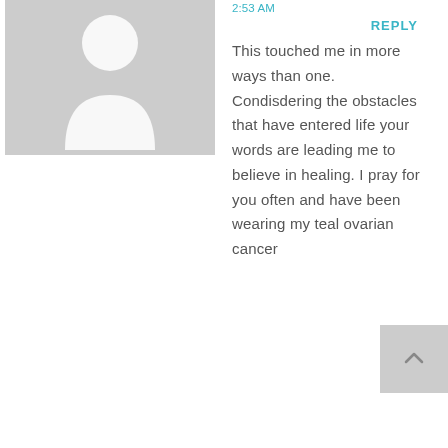[Figure (illustration): Default grey user avatar silhouette]
2:53 AM
REPLY
This touched me in more ways than one. Condisdering the obstacles that have entered life your words are leading me to believe in healing. I pray for you often and have been wearing my teal ovarian cancer